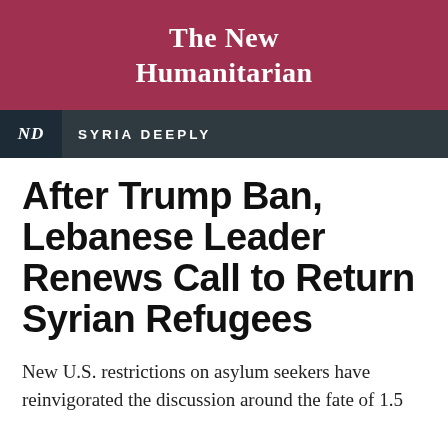The New Humanitarian
ND  SYRIA DEEPLY
After Trump Ban, Lebanese Leader Renews Call to Return Syrian Refugees
New U.S. restrictions on asylum seekers have reinvigorated the discussion around the fate of 1.5...